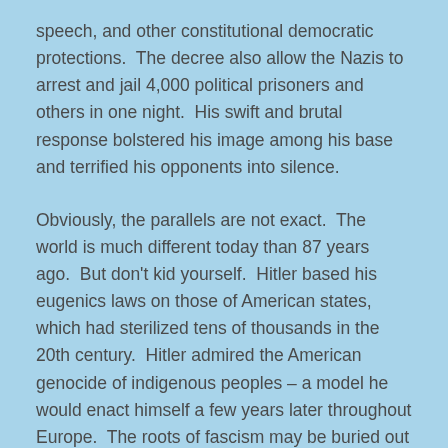speech, and other constitutional democratic protections.  The decree also allow the Nazis to arrest and jail 4,000 political prisoners and others in one night.  His swift and brutal response bolstered his image among his base and terrified his opponents into silence.
Obviously, the parallels are not exact.  The world is much different today than 87 years ago.  But don't kid yourself.  Hitler based his eugenics laws on those of American states, which had sterilized tens of thousands in the 20th century.  Hitler admired the American genocide of indigenous peoples – a model he would enact himself a few years later throughout Europe.  The roots of fascism may be buried out of sight in America, but they still exist, ready to sprout again.